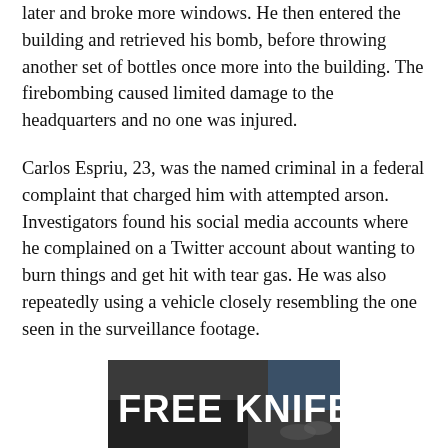later and broke more windows. He then entered the building and retrieved his bomb, before throwing another set of bottles once more into the building. The firebombing caused limited damage to the headquarters and no one was injured.
Carlos Espriu, 23, was the named criminal in a federal complaint that charged him with attempted arson. Investigators found his social media accounts where he complained on a Twitter account about wanting to burn things and get hit with tear gas. He was also repeatedly using a vehicle closely resembling the one seen in the surveillance footage.
[Figure (photo): Advertisement image with bold white text reading FREE KNIFE over a dark photo background showing fingers.]